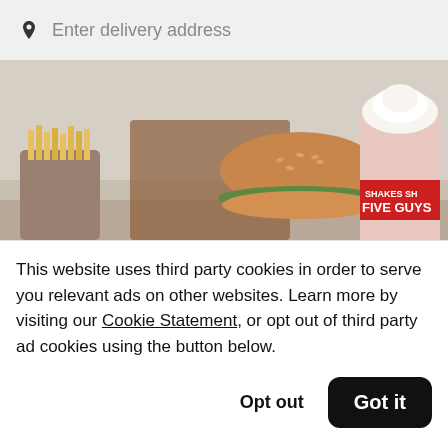Enter delivery address
[Figure (photo): Food photo showing Five Guys burger, fries in a cup, and a milkshake with Five Guys branding on the cup]
Five Guys CA-1259 4930 Dublin Blvd  48
This website uses third party cookies in order to serve you relevant ads on other websites. Learn more by visiting our Cookie Statement, or opt out of third party ad cookies using the button below.
Opt out
Got it